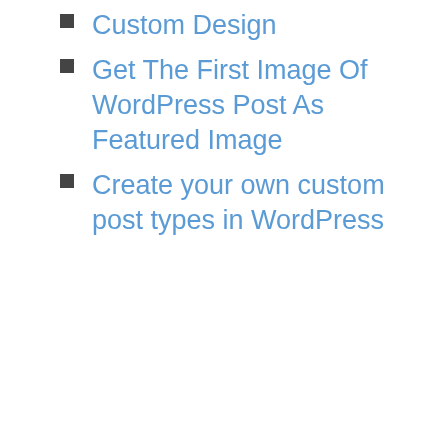Custom Design
Get The First Image Of WordPress Post As Featured Image
Create your own custom post types in WordPress